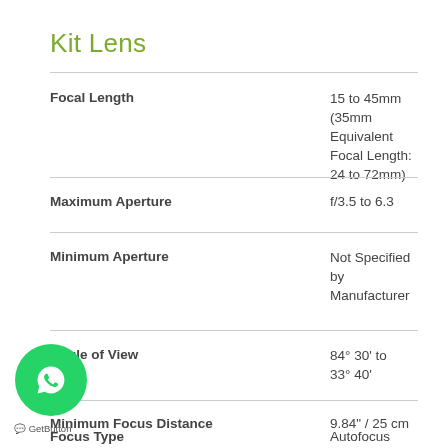Kit Lens
| Specification | Value |
| --- | --- |
| Focal Length | 15 to 45mm (35mm Equivalent Focal Length: 24 to 72mm) |
| Maximum Aperture | f/3.5 to 6.3 |
| Minimum Aperture | Not Specified by Manufacturer |
| Angle of View | 84° 30' to 33° 40' |
| Minimum Focus Distance | 9.84" / 25 cm |
| Optical Design | 10 Elements in 9 Groups |
| Focus Type | Autofocus |